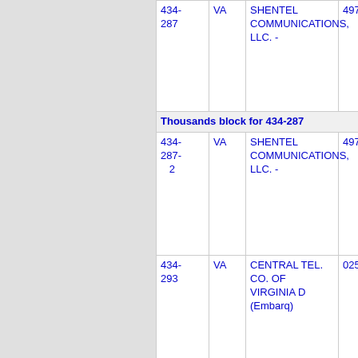| NPA-NXX | ST | Company Name | OCN |
| --- | --- | --- | --- |
| 434-287 | VA | SHENTEL COMMUNICATIONS, LLC. - | 4979 |
| Thousands block for 434-287 |  |  |  |
| 434-287-2 | VA | SHENTEL COMMUNICATIONS, LLC. - | 4979 |
| 434-293 | VA | CENTRAL TEL. CO. OF VIRGINIA D (Embarq) | 0254 |